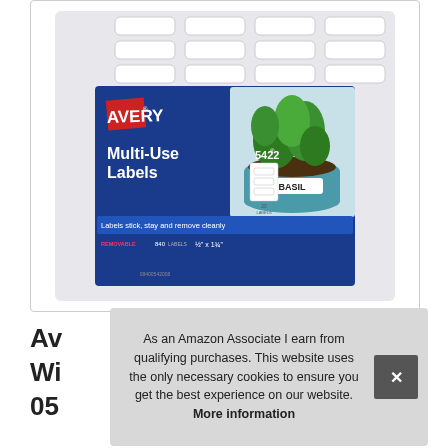[Figure (photo): Avery Multi-Use Labels product package (model 5422). Blue packaging with AVERY logo, shows a basil plant in a teal pot with a white label reading BASIL. Text: Multi-Use Labels, Labels stick, stay and remove cleanly, REMOVABLE, 840 LABELS, 1/2 x 1-3/4, 20 LABELS PER SHEET, 5422.]
Av
WI
05
As an Amazon Associate I earn from qualifying purchases. This website uses the only necessary cookies to ensure you get the best experience on our website. More information